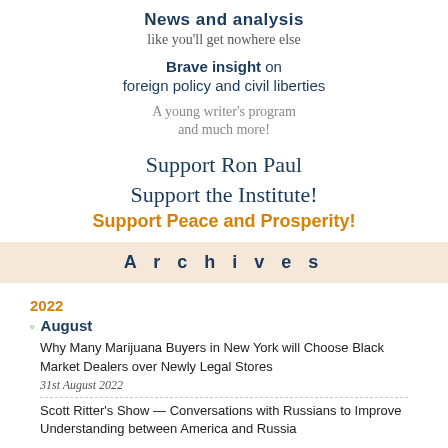News and analysis
like you'll get nowhere else
Brave insight on foreign policy and civil liberties
A young writer's program and much more!
Support Ron Paul Support the Institute! Support Peace and Prosperity!
Archives
2022
August
Why Many Marijuana Buyers in New York will Choose Black Market Dealers over Newly Legal Stores
31st August 2022
Scott Ritter's Show — Conversations with Russians to Improve Understanding between America and Russia